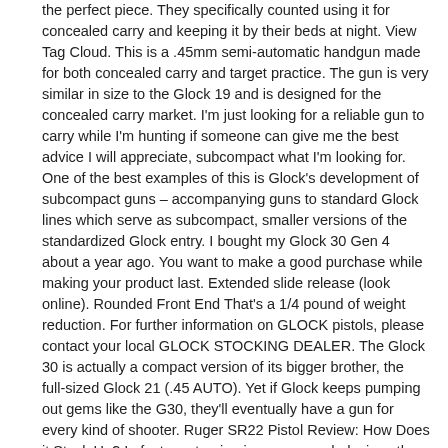the perfect piece. They specifically counted using it for concealed carry and keeping it by their beds at night. View Tag Cloud. This is a .45mm semi-automatic handgun made for both concealed carry and target practice. The gun is very similar in size to the Glock 19 and is designed for the concealed carry market. I'm just looking for a reliable gun to carry while I'm hunting if someone can give me the best advice I will appreciate, subcompact what I'm looking for. One of the best examples of this is Glock's development of subcompact guns – accompanying guns to standard Glock lines which serve as subcompact, smaller versions of the standardized Glock entry. I bought my Glock 30 Gen 4 about a year ago. You want to make a good purchase while making your product last. Extended slide release (look online). Rounded Front End That's a 1/4 pound of weight reduction. For further information on GLOCK pistols, please contact your local GLOCK STOCKING DEALER. The Glock 30 is actually a compact version of its bigger brother, the full-sized Glock 21 (.45 AUTO). Yet if Glock keeps pumping out gems like the G30, they'll eventually have a gun for every kind of shooter. Ruger SR22 Pistol Review: How Does it Stack Up? In fact, contouring is recommended, since the Glock may not fit for many users. The ShapeShift Modular Holster System gives you a better class of Glock 30 IWB holster. I find this is a weak choice in subcompacts which are intended for self-defense. A friend and I were enjoying an after-class beverage with an instructor, Jerod Johnson, who's earned my respect by delivering dynamic, memorable learning experiences. The aftermarket is full of replacement parts and accessories. The material of the frame and the internal parts will decide the durability. Among the users, a general pattern was easy to find. Chiappa Rhino Review: Is This .357 Magnum Revolver…